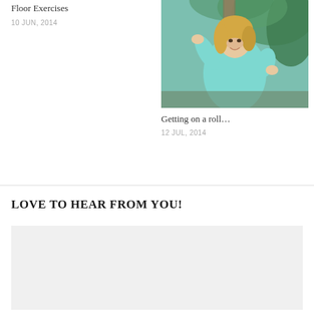Floor Exercises
10 JUN, 2014
[Figure (photo): Woman in teal long-sleeve shirt outdoors with hands raised, smiling, with green foliage in background]
Getting on a roll…
12 JUL, 2014
LOVE TO HEAR FROM YOU!
[Figure (other): Light gray form/text area input box]